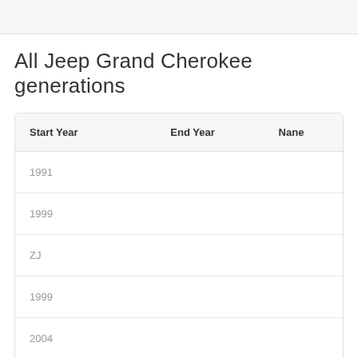All Jeep Grand Cherokee generations
| Start Year | End Year | Nane |
| --- | --- | --- |
| 1991 |  |  |
| 1999 |  |  |
| ZJ |  |  |
| 1999 |  |  |
| 2004 |  |  |